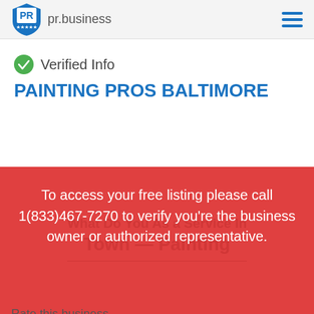pr.business
Verified Info
PAINTING PROS BALTIMORE
To access your free listing please call 1(833)467-7270 to verify you're the business owner or authorized representative.
Rate this business